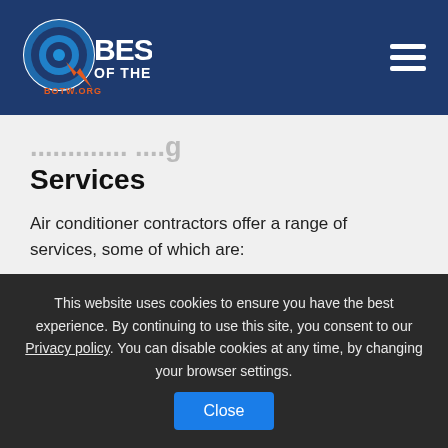[Figure (logo): Best of the Web (BOTW.ORG) logo with circular target icon and navigation hamburger menu on dark navy blue header background]
Services
Air conditioner contractors offer a range of services, some of which are:
Installation: Professional air conditioner contractors can help you select the right size of
This website uses cookies to ensure you have the best experience. By continuing to use this site, you consent to our Privacy policy. You can disable cookies at any time, by changing your browser settings.